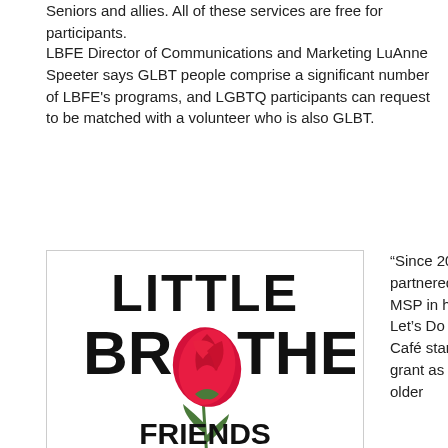Seniors and allies. All of these services are free for participants.
LBFE Director of Communications and Marketing LuAnne Speeter says GLBT people comprise a significant number of LBFE's programs, and LGBTQ participants can request to be matched with a volunteer who is also GLBT.
[Figure (logo): Little Brothers Friends of the Elderly Minneapolis/St. Paul Chapter logo with a red rose illustration]
Image courtesy of Little Brothers – Friends of the Elderly
“Since 2015, LBFE has partnered with Prime Timers MSP in hosting our monthly Let’s Do Lunch Café. The Café started through a PFund grant as an opportunity for older